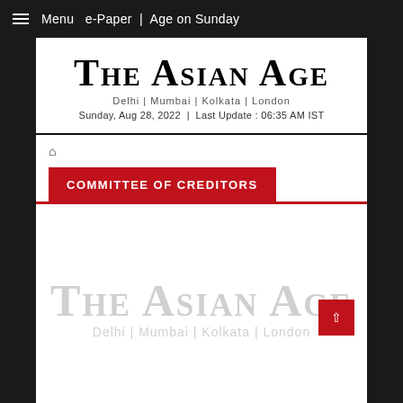☰ Menu  e-Paper | Age on Sunday
The Asian Age
Delhi | Mumbai | Kolkata | London
Sunday, Aug 28, 2022 | Last Update : 06:35 AM IST
COMMITTEE OF CREDITORS
[Figure (logo): The Asian Age watermark logo in light gray with text Delhi | Mumbai | Kolkata | London]